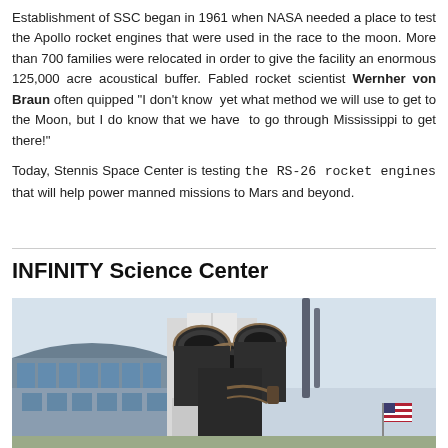Establishment of SSC began in 1961 when NASA needed a place to test the Apollo rocket engines that were used in the race to the moon. More than 700 families were relocated in order to give the facility an enormous 125,000 acre acoustical buffer. Fabled rocket scientist Wernher von Braun often quipped "I don't know yet what method we will use to get to the Moon, but I do know that we have to go through Mississippi to get there!"

Today, Stennis Space Center is testing the RS-26 rocket engines that will help power manned missions to Mars and beyond.
INFINITY Science Center
[Figure (photo): Photo of rocket engines (multiple large nozzles) displayed outdoors at INFINITY Science Center, with a modern glass building visible in the background and an American flag.]